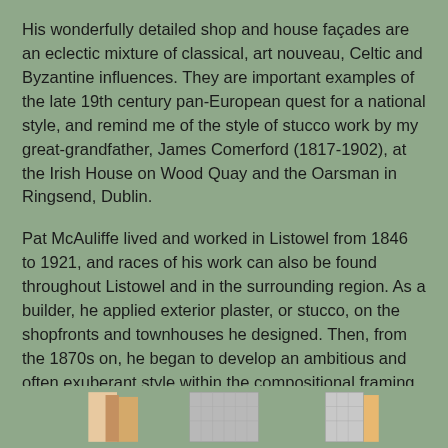His wonderfully detailed shop and house façades are an eclectic mixture of classical, art nouveau, Celtic and Byzantine influences. They are important examples of the late 19th century pan-European quest for a national style, and remind me of the style of stucco work by my great-grandfather, James Comerford (1817-1902), at the Irish House on Wood Quay and the Oarsman in Ringsend, Dublin.
Pat McAuliffe lived and worked in Listowel from 1846 to 1921, and races of his work can also be found throughout Listowel and in the surrounding region. As a builder, he applied exterior plaster, or stucco, on the shopfronts and townhouses he designed. Then, from the 1870s on, he began to develop an ambitious and often exuberant style within the compositional framing of façades of everyday buildings in the region.
‘The Maid of Erin’
[Figure (photo): Three small photographs of building façades at the bottom of the page]